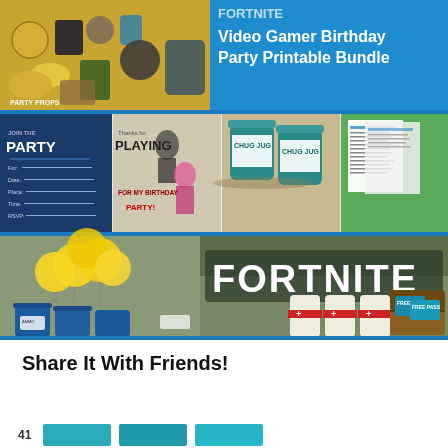[Figure (illustration): Fortnite Video Gamer Birthday Party Printable Bundle collage. Top section: left side shows party props/decorations on gold background; right side shows blue background with white text 'Video Gamer Birthday Party Printable Bundle'. Middle strip: party invite card reading 'JOIN THE PARTY', thank-you card reading 'Thanks for PLAYING', photo of chug jug drink cans, and printed party instruction pages. Bottom large photo: yellow balloons with blue barrel decorations on left, large 'FORTNITE' letters sign in center-right, medical kit bottle decorations, and treasure chest with free pass cards.]
Share It With Friends!
[Figure (infographic): Social sharing bar showing a count of 41 and three teal/cyan colored share buttons]